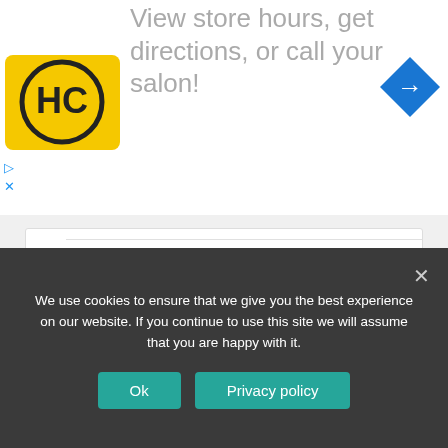[Figure (screenshot): Advertisement banner: HC logo on left, text 'View store hours, get directions, or call your salon!' in grey, blue navigation arrow icon on right, with play and close controls]
Tags: coffeemakers, difference
‹ How to Remove a Bottom Heater
Drain the dishwasher into the sewer properly ›
We use cookies to ensure that we give you the best experience on our website. If you continue to use this site we will assume that you are happy with it.